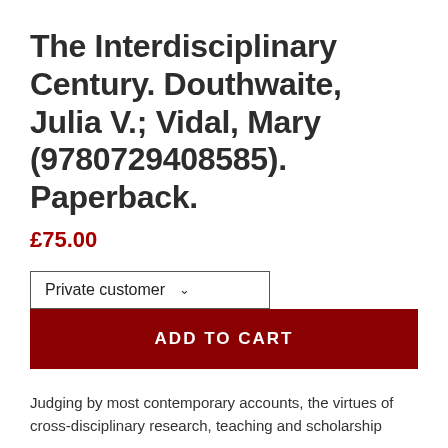The Interdisciplinary Century. Douthwaite, Julia V.; Vidal, Mary (9780729408585). Paperback.
£75.00
Private customer
ADD TO CART
Judging by most contemporary accounts, the virtues of cross-disciplinary research, teaching and scholarship